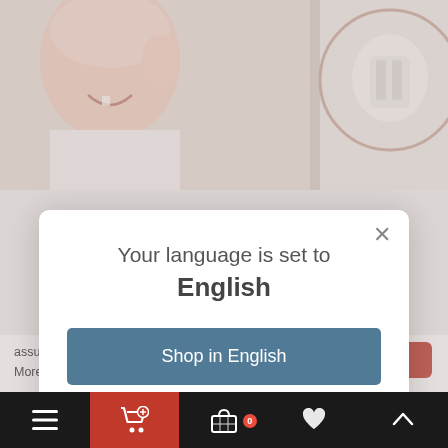[Figure (screenshot): Website screenshot showing product photos (child and dental product) in the background, partially obscured by a language-selection modal dialog and a cookie notice bar.]
Your language is set to English
Shop in English
Change language
assume that you are happy with this.
More about cookies: www.aboutcookies.org